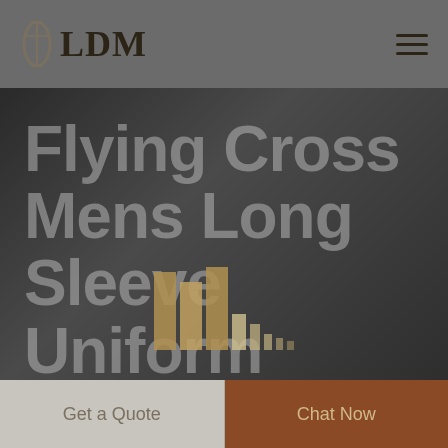[Figure (logo): LDM logo with a safety pin icon on the left and bold serif text 'LDM' on the right, displayed in a dark gray header bar with a hamburger menu icon on the right side]
Flying Cross Mens Long Sleeve Uniform
[Figure (illustration): Decorative bar chart graphic overlaid on the hero section, with golden/beige colored vertical bars of varying heights]
Get a Quote
Chat Now